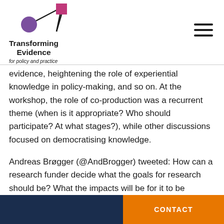[Figure (logo): Transforming Evidence for policy and practice logo with geometric graphic (purple circle and pink square connected by lines)]
evidence, heightening the role of experiential knowledge in policy-making, and so on. At the workshop, the role of co-production was a recurrent theme (when is it appropriate? Who should participate? At what stages?), while other discussions focused on democratising knowledge.
Andreas Brøgger (@AndBrogger) tweeted: How can a research funder decide what the goals for research should be? What the impacts will be for it to be considered a succes? Citizen involvement and democratic decision
CONTACT